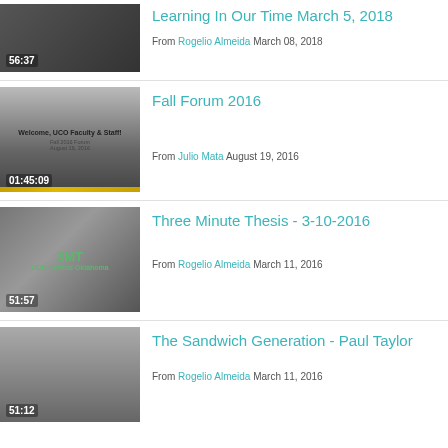[Figure (screenshot): Video thumbnail showing a room scene with duration 56:37]
Learning In Our Time March 5, 2018
From Rogelio Almeida March 08, 2018
[Figure (screenshot): Video thumbnail showing 'Welcome, UCO Faculty & Staff! Fall 2016 Forum August 16, 2016' with duration 01:45:09]
Fall Forum 2016
From Julio Mata August 19, 2016
[Figure (screenshot): Video thumbnail showing 3MT and UCO Central Oklahoma logos with duration 51:57]
Three Minute Thesis - 3-10-2016
From Rogelio Almeida March 11, 2016
[Figure (screenshot): Video thumbnail with duration 51:12]
The Sandwich Generation - Paul Taylor
From Rogelio Almeida March 11, 2016